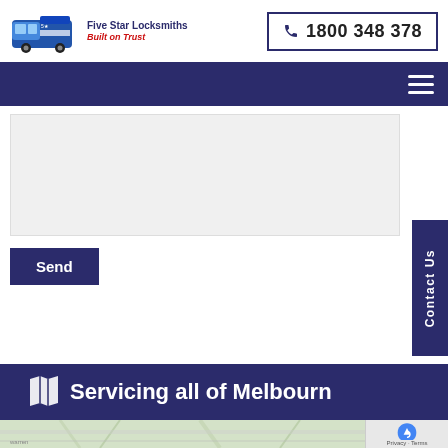[Figure (logo): Five Star Locksmiths logo with a blue van and text 'Five Star Locksmiths - Built on Trust']
1800 348 378
[Figure (infographic): Dark navy navigation bar with hamburger menu icon on the right]
[Figure (screenshot): Light grey form textarea area for user input]
Send
Contact Us
Servicing all of Melbourne
[Figure (map): Street map of Melbourne area shown at bottom of page]